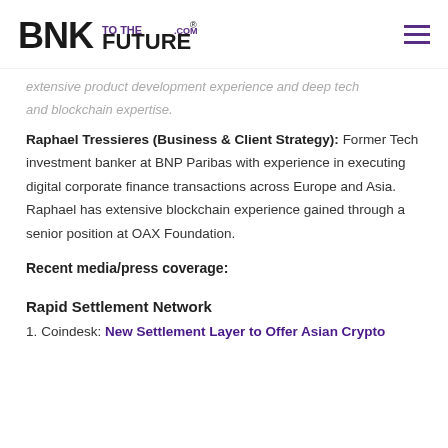BNK To The Future
extensive product development experience and deep tech and blockchain expertise.
Raphael Tressieres (Business & Client Strategy): Former Tech investment banker at BNP Paribas with experience in executing digital corporate finance transactions across Europe and Asia. Raphael has extensive blockchain experience gained through a senior position at OAX Foundation.
Recent media/press coverage:
Rapid Settlement Network
1. Coindesk: New Settlement Layer to Offer Asian Crypto